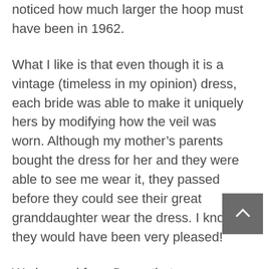noticed how much larger the hoop must have been in 1962.
What I like is that even though it is a vintage (timeless in my opinion) dress, each bride was able to make it uniquely hers by modifying how the veil was worn. Although my mother’s parents bought the dress for her and they were able to see me wear it, they passed before they could see their great granddaughter wear the dress. I know they would have been very pleased!
We learned from Darcy that